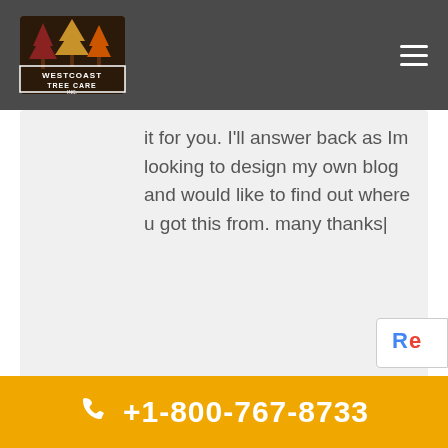[Figure (logo): Westcoast Tree Care Inc. logo with trees icon]
it for you. I'll answer back as Im looking to design my own blog and would like to find out where u got this from. many thanks|
Darline Amison
July 25, 2022 at 3:31 pm
Have you ever considered about adding a little bit more than just your articles? I mean, what you say is
+1-800-767-8733